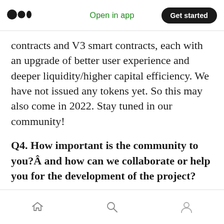Open in app | Get started
contracts and V3 smart contracts, each with an upgrade of better user experience and deeper liquidity/higher capital efficiency. We have not issued any tokens yet. So this may also come in 2022. Stay tuned in our community!
Q4. How important is the community to you?Â and how can we collaborate or help you for the development of the project?
Matt TFG : welcome to become one of our ambassadors.
Home | Search | Profile